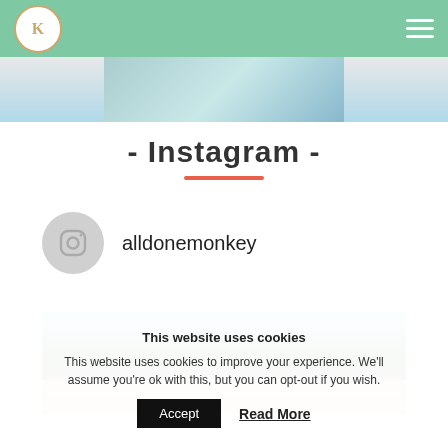alldonemonkey – navigation header
[Figure (photo): Partial image of a person at top of page]
- Instagram -
alldonemonkey
[Figure (photo): Landscape photo showing beach with trees, shrubs, and blue sky]
This website uses cookies
This website uses cookies to improve your experience. We'll assume you're ok with this, but you can opt-out if you wish.
Accept  Read More